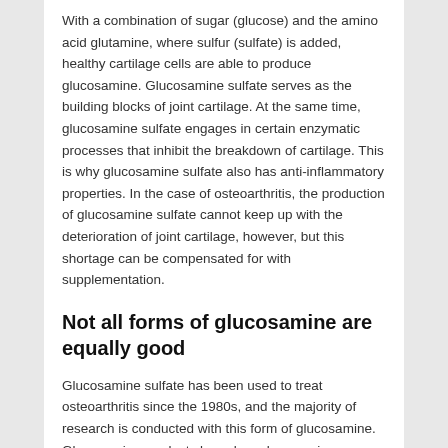With a combination of sugar (glucose) and the amino acid glutamine, where sulfur (sulfate) is added, healthy cartilage cells are able to produce glucosamine. Glucosamine sulfate serves as the building blocks of joint cartilage. At the same time, glucosamine sulfate engages in certain enzymatic processes that inhibit the breakdown of cartilage. This is why glucosamine sulfate also has anti-inflammatory properties. In the case of osteoarthritis, the production of glucosamine sulfate cannot keep up with the deterioration of joint cartilage, however, but this shortage can be compensated for with supplementation.
Not all forms of glucosamine are equally good
Glucosamine sulfate has been used to treat osteoarthritis since the 1980s, and the majority of research is conducted with this form of glucosamine. Glucosamine products based on glucosamine hydrochloride have not shown the same positive results, and that is why the efficacy of glucosamine has been questioned by some experts in the past.
New report gives glucosamine sulfate a comeback